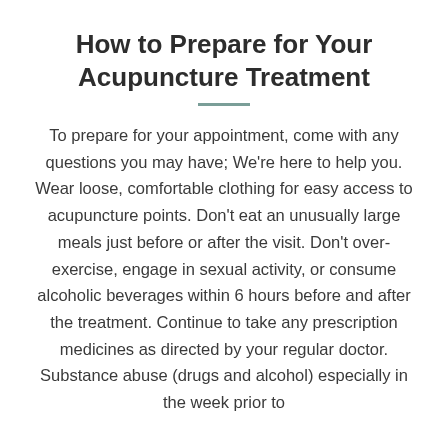How to Prepare for Your Acupuncture Treatment
To prepare for your appointment, come with any questions you may have; We're here to help you. Wear loose, comfortable clothing for easy access to acupuncture points. Don't eat an unusually large meals just before or after the visit. Don't over-exercise, engage in sexual activity, or consume alcoholic beverages within 6 hours before and after the treatment. Continue to take any prescription medicines as directed by your regular doctor. Substance abuse (drugs and alcohol) especially in the week prior to